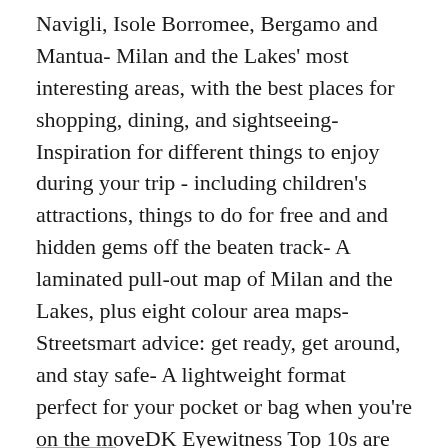Navigli, Isole Borromee, Bergamo and Mantua- Milan and the Lakes' most interesting areas, with the best places for shopping, dining, and sightseeing- Inspiration for different things to enjoy during your trip - including children's attractions, things to do for free and and hidden gems off the beaten track- A laminated pull-out map of Milan and the Lakes, plus eight colour area maps- Streetsmart advice: get ready, get around, and stay safe- A lightweight format perfect for your pocket or bag when you're on the moveDK Eyewitness Top 10s are the UK's favourite pocket guides and have been helping travellers to make the most of their breaks since 2002. Looking for more on Milan's culture, history and attractions? Try our DK Eyewitness Italy.